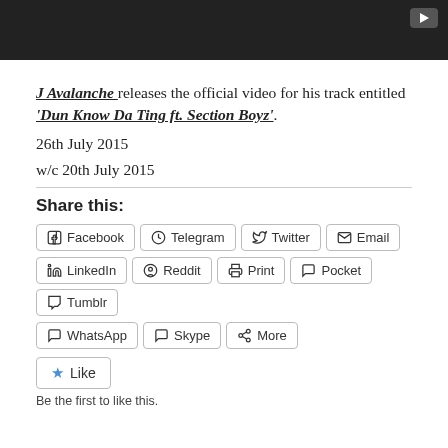[Figure (screenshot): Dark video player bar with YouTube play button icon in top right corner]
J Avalanche releases the official video for his track entitled 'Dun Know Da Ting ft. Section Boyz'.
26th July 2015
w/c 20th July 2015
Share this:
Facebook
Telegram
Twitter
Email
LinkedIn
Reddit
Print
Pocket
Tumblr
WhatsApp
Skype
More
Like
Be the first to like this.